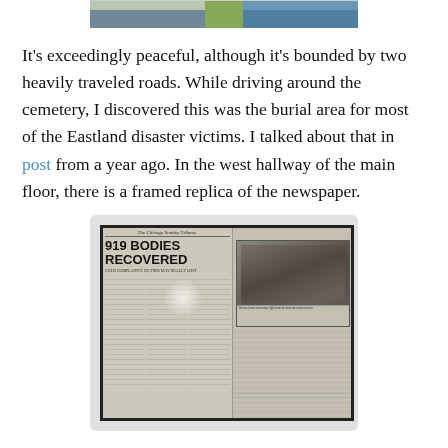[Figure (photo): Top portion of an outdoor photo, partially cropped, showing green grass and blue sky elements]
It's exceedingly peaceful, although it's bounded by two heavily traveled roads. While driving around the cemetery, I discovered this was the burial area for most of the Eastland disaster victims. I talked about that in post from a year ago. In the west hallway of the main floor, there is a framed replica of the newspaper.
[Figure (photo): Framed replica of The Chicago Sunday Tribune newspaper front page with headline '919 BODIES RECOVERED' and a photograph of the Eastland disaster. The newspaper is displayed behind glass in a dark frame, mounted on a light gray background mat.]
The building itself is two floors with restrooms and cemetery facilities in the basement floor. The dome, resplendent with